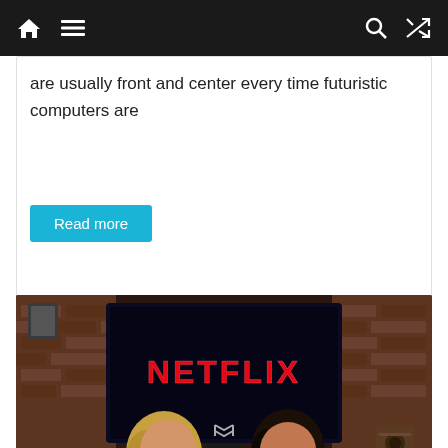Home Menu Search Shuffle
are usually front and center every time futuristic computers are
Read more
[Figure (photo): Two people seen from behind watching a TV showing the Netflix logo in a brick-walled room with speakers visible on the right side.]